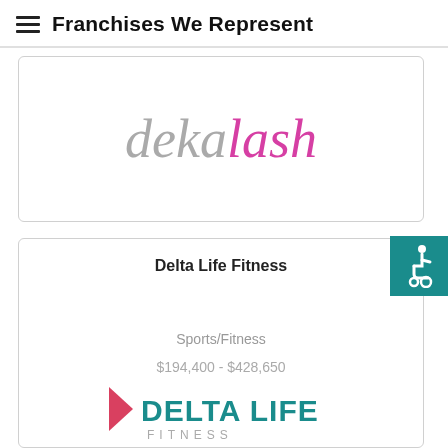Franchises We Represent
[Figure (logo): deka lash logo — 'deka' in light grey italic serif, 'lash' in magenta/pink italic serif]
Delta Life Fitness
Sports/Fitness
$194,400 - $428,650
[Figure (logo): Delta Life Fitness logo with a triangle/arrow shape in pink-red followed by 'DELTA LIFE' in teal bold uppercase and 'FITNESS' in grey spaced letters below]